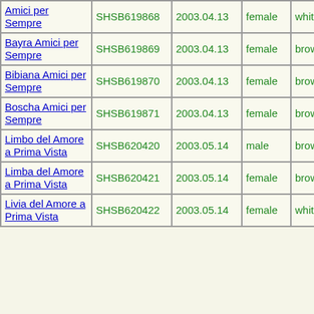| Amici per Sempre | SHSB619868 | 2003.04.13 | female | white | B | -- |
| Bayra Amici per Sempre | SHSB619869 | 2003.04.13 | female | brownroan |  |  |
| Bibiana Amici per Sempre | SHSB619870 | 2003.04.13 | female | brownroan | A |  |
| Boscha Amici per Sempre | SHSB619871 | 2003.04.13 | female | brownroan | B | -- |
| Limbo del Amore a Prima Vista | SHSB620420 | 2003.05.14 | male | brownroan |  |  |
| Limba del Amore a Prima Vista | SHSB620421 | 2003.05.14 | female | brownroan |  |  |
| Livia del Amore a Prima Vista | SHSB620422 | 2003.05.14 | female | white |  |  |